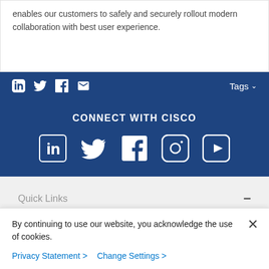enables our customers to safely and securely rollout modern collaboration with best user experience.
[Figure (infographic): Social share bar with LinkedIn, Twitter, Facebook, Email icons and Tags dropdown on dark blue background]
CONNECT WITH CISCO
[Figure (infographic): Connect with Cisco social media icons: LinkedIn, Twitter, Facebook, Instagram, YouTube on dark blue background]
Quick Links
About Cisco
By continuing to use our website, you acknowledge the use of cookies.
Privacy Statement > Change Settings >